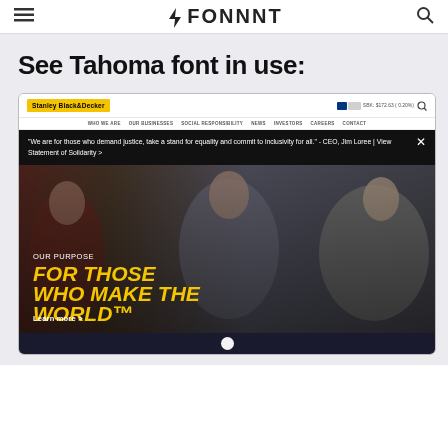FONNNT
See Tahoma font in use:
[Figure (screenshot): Screenshot of Stanley Black & Decker website homepage showing navigation bar with logo and stock price, secondary nav links (WHO WE ARE, OUR BUSINESSES, SOCIAL RESPONSIBILITY, NEWS, INVESTORS, CAREERS, CONTACT), a black banner with CEO quote about justice and equality, and a hero image with three people and bold yellow italic text reading 'FOR THOSE WHO MAKE THE WORLD™' with 'OUR PURPOSE' label and 'Learn more >' link]